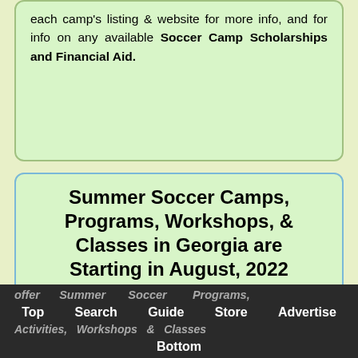each camp's listing & website for more info, and for info on any available Soccer Camp Scholarships and Financial Aid.
Summer Soccer Camps, Programs, Workshops, & Classes in Georgia are Starting in August, 2022
Many of our Georgia Soccer Camps offer Summer Soccer Programs, Activities, Workshops & Classes starting in August, 2022.
Top   Search   Guide   Store   Advertise   Bottom